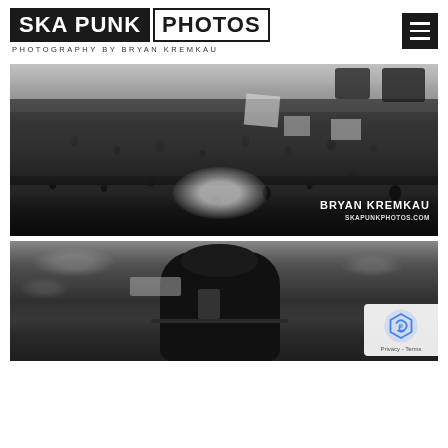SKA PUNK PHOTOS — Photography by Bryan Kremkau
[Figure (photo): Black and white photograph of a large protest crowd holding signs and flags, with police officers visible in the background on steps. Watermark reads 'BRYAN KREMKAU / SKAPUNKPHOTOS.COM']
[Figure (photo): Black and white photograph of a hooded figure at a protest, holding a microphone or megaphone. A reCAPTCHA badge with 'Privacy - Terms' is visible in the bottom right corner.]